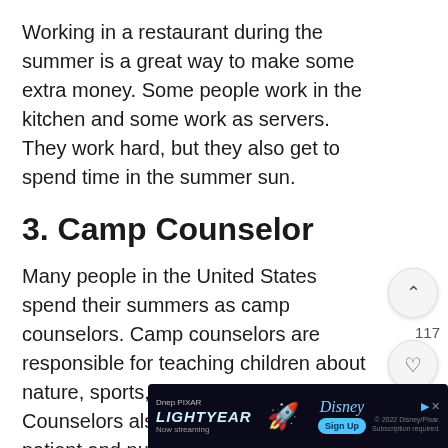Working in a restaurant during the summer is a great way to make some extra money. Some people work in the kitchen and some work as servers. They work hard, but they also get to spend time in the summer sun.
3. Camp Counselor
Many people in the United States spend their summers as camp counselors. Camp counselors are responsible for teaching children about nature, sports, and other activities. Counselors also have to be very patient and nurturing as they work with children